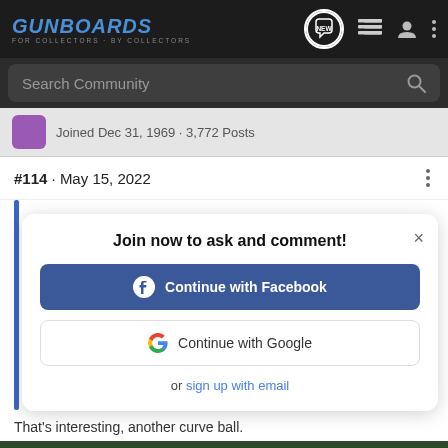[Figure (screenshot): Gunboards forum website header with logo, nav icons including NEW button, list icon, user icon, and three-dot menu]
[Figure (screenshot): Search Community search bar on dark background]
Joined Dec 31, 1969 · 3,772 Posts
#114 · May 15, 2022
[Figure (screenshot): Join now to ask and comment! modal dialog with Continue with Facebook button, Continue with Google button, and sign up with email link]
That's interesting, another curve ball.
[Figure (screenshot): Bass Pro Shops Reloading Supplies advertisement banner with SHOP NOW button]
Reply